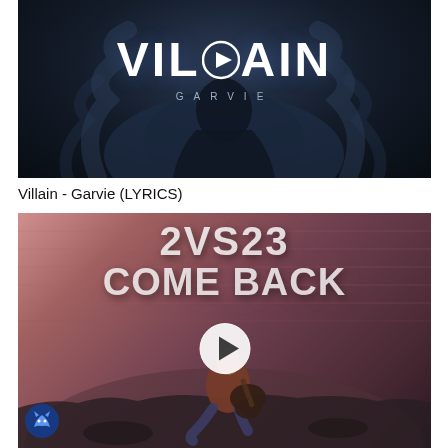[Figure (screenshot): Video thumbnail for 'Villain - Garvie (LYRICS)' showing the text VILDAIN in large white letters with a play button icon in the O, and GARVIE in spaced letters below, against a dark smoky background with a shadowy figure.]
Villain - Garvie (LYRICS)
[Figure (screenshot): Video thumbnail showing '2VS23 COME BACK' in large stylized white text over a pink/mauve atmospheric background with a person sitting playing guitar, a white play button overlay, and a blue wolf logo in the bottom left corner.]